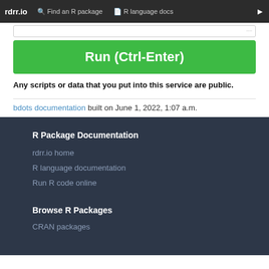rdrr.io   Find an R package   R language docs
[Figure (screenshot): Green Run (Ctrl-Enter) button]
Any scripts or data that you put into this service are public.
bdots documentation built on June 1, 2022, 1:07 a.m.
R Package Documentation
rdrr.io home
R language documentation
Run R code online
Browse R Packages
CRAN packages